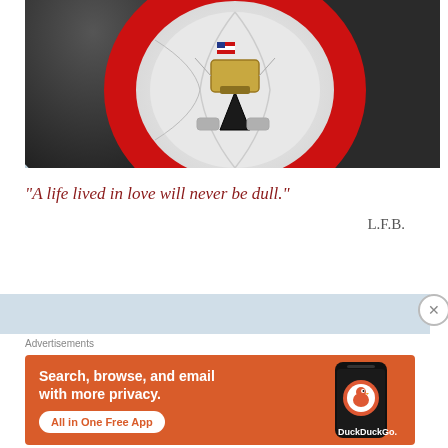[Figure (photo): Bottom-up view of a hot air balloon with red, black, and white colors, showing the underside with a gondola attachment point and American flag detail. Sky visible in background.]
“A life lived in love will never be dull.”
L.F.B.
[Figure (photo): Partial strip of sky/clouds image from next image]
Advertisements
[Figure (screenshot): DuckDuckGo advertisement banner on orange background. Text reads: Search, browse, and email with more privacy. All in One Free App. Shows a phone with DuckDuckGo logo.]